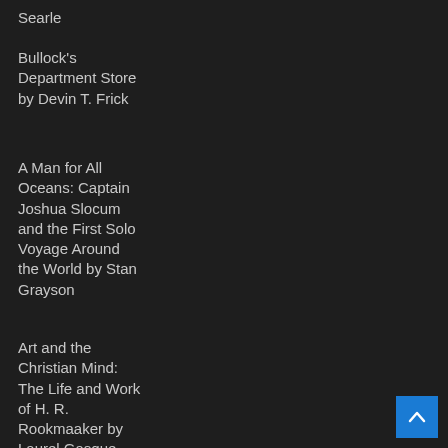Searle
Bullock's Department Store by Devin T. Frick
A Man for All Oceans: Captain Joshua Slocum and the First Solo Voyage Around the World by Stan Grayson
Art and the Christian Mind: The Life and Work of H. R. Rookmaaker by Laurel Gasque